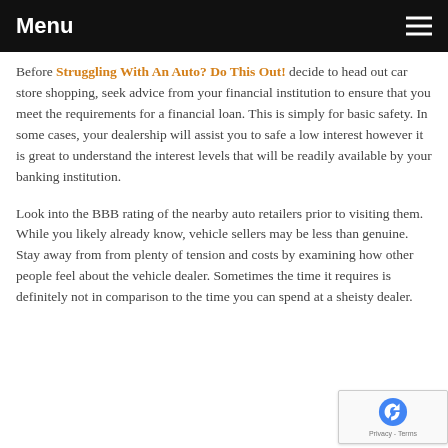Menu
Before Struggling With An Auto? Do This Out! decide to head out car store shopping, seek advice from your financial institution to ensure that you meet the requirements for a financial loan. This is simply for basic safety. In some cases, your dealership will assist you to safe a low interest however it is great to understand the interest levels that will be readily available by your banking institution.
Look into the BBB rating of the nearby auto retailers prior to visiting them. While you likely already know, vehicle sellers may be less than genuine. Stay away from from plenty of tension and costs by examining how other people feel about the vehicle dealer. Sometimes the time it requires is definitely not in comparison to the time you can spend at a sheisty dealer.